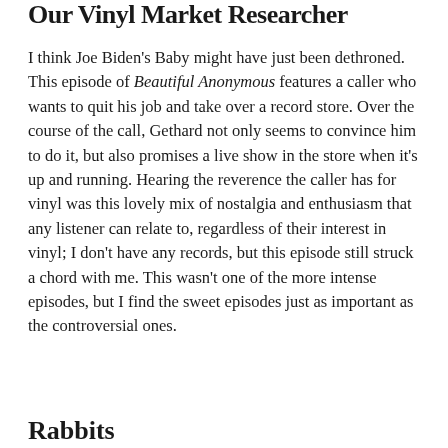Our Vinyl Market Researcher
I think Joe Biden's Baby might have just been dethroned. This episode of Beautiful Anonymous features a caller who wants to quit his job and take over a record store. Over the course of the call, Gethard not only seems to convince him to do it, but also promises a live show in the store when it's up and running. Hearing the reverence the caller has for vinyl was this lovely mix of nostalgia and enthusiasm that any listener can relate to, regardless of their interest in vinyl; I don't have any records, but this episode still struck a chord with me. This wasn't one of the more intense episodes, but I find the sweet episodes just as important as the controversial ones.
Rabbits